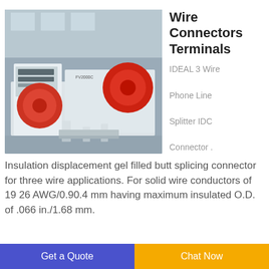[Figure (photo): Industrial wire processing machine with red motor components and white frame on a factory floor]
Wire Connectors Terminals
IDEAL 3 Wire Phone Line Splitter IDC Connector .
Insulation displacement gel filled butt splicing connector for three wire applications. For solid wire conductors of 19 26 AWG/0.90.4 mm having maximum insulated O.D. of .066 in./1.68 mm.
[Figure (photo): Industrial facility interior with machinery and brick walls]
Plastic Prices Hit